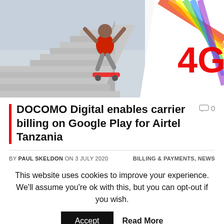[Figure (photo): A boy in a red shirt jumping on a skateboard near stairs, with a large red 4G logo on the right side against a colorful striped background]
DOCOMO Digital enables carrier billing on Google Play for Airtel Tanzania
0
BY PAUL SKELDON ON 3 JULY 2020   BILLING & PAYMENTS, NEWS
This website uses cookies to improve your experience. We'll assume you're ok with this, but you can opt-out if you wish.
Accept   Read More